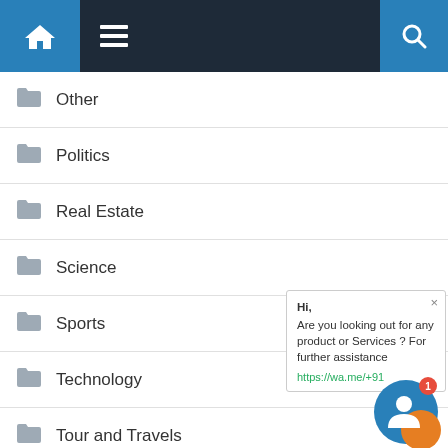Home menu search navigation bar
Other
Politics
Real Estate
Science
Sports
Technology
Tour and Travels
Web Hosting
Wildlife
World
Hi,
Are you looking out for any product or Services ? For further assistance
https://wa.me/+91